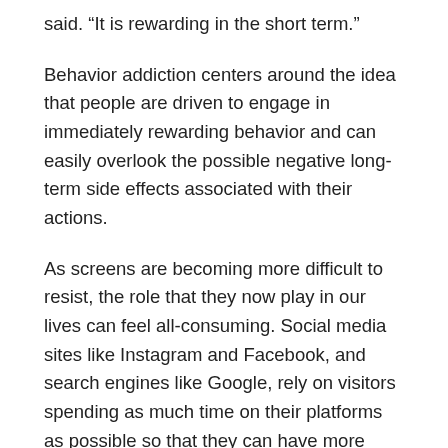said. “It is rewarding in the short term.”
Behavior addiction centers around the idea that people are driven to engage in immediately rewarding behavior and can easily overlook the possible negative long-term side effects associated with their actions.
As screens are becoming more difficult to resist, the role that they now play in our lives can feel all-consuming. Social media sites like Instagram and Facebook, and search engines like Google, rely on visitors spending as much time on their platforms as possible so that they can have more time allotted to advertising.
A main driver of this so-called “irresistible screen experience” is stopping cues. In a Ted Talk that Alter gave in 2017, he discussed this phenomenon and shared how stopping cues are basically signals that show it is time to